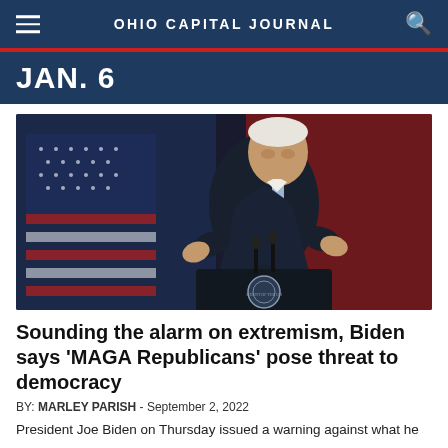OHIO CAPITAL JOURNAL
JAN. 6
[Figure (photo): President Joe Biden speaking at a podium with a U.S. flag in the background, wearing a dark suit and light blue tie, gesturing with his hands.]
Sounding the alarm on extremism, Biden says 'MAGA Republicans' pose threat to democracy
BY: MARLEY PARISH - September 2, 2022
President Joe Biden on Thursday issued a warning against what he